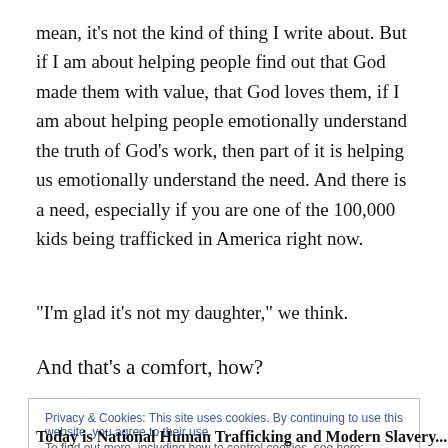mean, it's not the kind of thing I write about. But if I am about helping people find out that God made them with value, that God loves them, if I am about helping people emotionally understand the truth of God's work, then part of it is helping us emotionally understand the need. And there is a need, especially if you are one of the 100,000 kids being trafficked in America right now.
“I’m glad it’s not my daughter,” we think.
And that’s a comfort, how?
Privacy & Cookies: This site uses cookies. By continuing to use this website, you agree to their use. To find out more, including how to control cookies, see here: Cookie Policy
Today is National Human Trafficking and Modern Slavery...